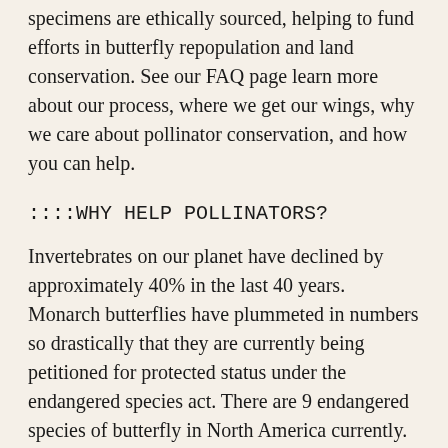specimens are ethically sourced, helping to fund efforts in butterfly repopulation and land conservation. See our FAQ page learn more about our process, where we get our wings, why we care about pollinator conservation, and how you can help.
::::WHY HELP POLLINATORS?
Invertebrates on our planet have declined by approximately 40% in the last 40 years. Monarch butterflies have plummeted in numbers so drastically that they are currently being petitioned for protected status under the endangered species act. There are 9 endangered species of butterfly in North America currently. Butterflies are long distance pollinators. We need bees to pollinate in about a 5-mile radius, AND we need butterflies to carry genetic diversity/strength (up to 55 miles in a day) with their pollination. I'd like to see us all